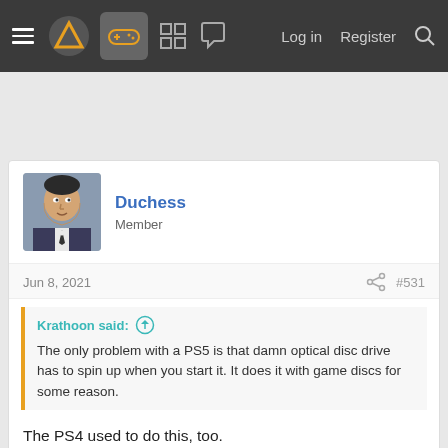Navigation bar with hamburger menu, logo, game controller icon, grid icon, chat icon, Log in, Register, Search
Duchess
Member
Jun 8, 2021
#531
Krathoon said:
The only problem with a PS5 is that damn optical disc drive has to spin up when you start it. It does it with game discs for some reason.
The PS4 used to do this, too.
The random spinning is the annoying bit. Sony have taken steps to dampen it somewhat. The noise level of the spinning also seems to be heavily dependent on the disc itself. Ghost